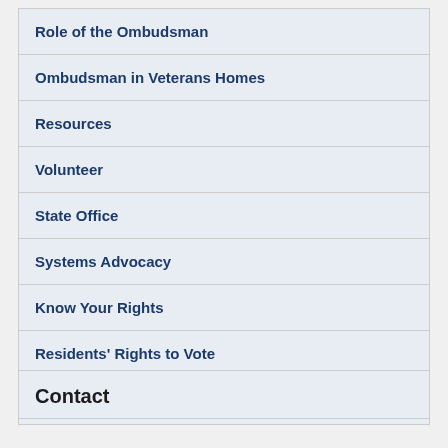Role of the Ombudsman
Ombudsman in Veterans Homes
Resources
Volunteer
State Office
Systems Advocacy
Know Your Rights
Residents' Rights to Vote
Regional Ombudsman Map [PDF icon]
Contact